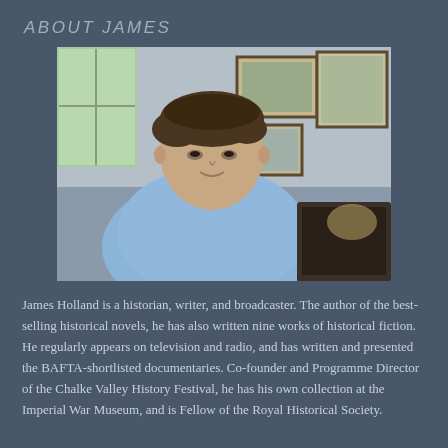ABOUT JAMES
[Figure (photo): Portrait photo of James Holland, a man in a light blue shirt leaning forward, with framed paintings visible on the wall behind him, in what appears to be a home study or living room setting.]
James Holland is a historian, writer, and broadcaster. The author of the best-selling historical novels, he has also written nine works of historical fiction. He regularly appears on television and radio, and has written and presented the BAFTA-shortlisted documentaries. Co-founder and Programme Director of the Chalke Valley History Festival, he has his own collection at the Imperial War Museum, and is Fellow of the Royal Historical Society.